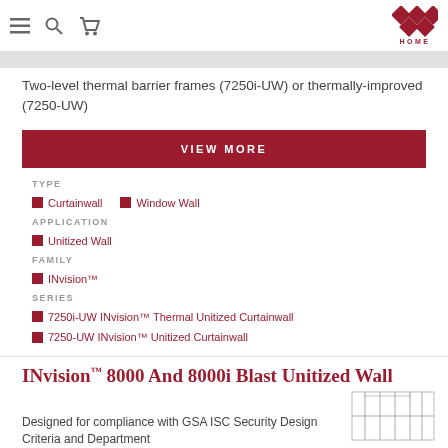Navigation bar with menu, search, cart icons and HOME logo
Two-level thermal barrier frames (7250i-UW) or thermally-improved (7250-UW)
VIEW MORE
TYPE
Curtainwall   Window Wall
APPLICATION
Unitized Wall
FAMILY
INvision™
SERIES
7250i-UW INvision™ Thermal Unitized Curtainwall
7250-UW INvision™ Unitized Curtainwall
INvision™ 8000 And 8000i Blast Unitized Wall
Designed for compliance with GSA ISC Security Design Criteria and Department
[Figure (engineering-diagram): Small schematic/technical drawing of a wall cross-section]